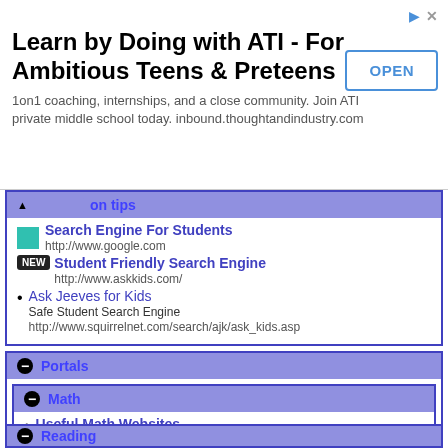[Figure (screenshot): Advertisement banner for ATI - Learn by Doing with ATI - For Ambitious Teens & Preteens, with OPEN button]
on tips
Search Engine For Students
http://www.google.com
Student Friendly Search Engine
http://www.askkids.com/
Ask Jeeves for Kids
Safe Student Search Engine
http://www.squirrelnet.com/search/ajk/ask_kids.asp
Portals
Math
Useful Math Websites
Mrs. MacDonald's PortaPortal: bmacdona
http://www.portaportal.com
Useful Websites
Useful Websites
McGee's PortaPortal: mcpstrt1
http://guest.portaportal.com/
Reading